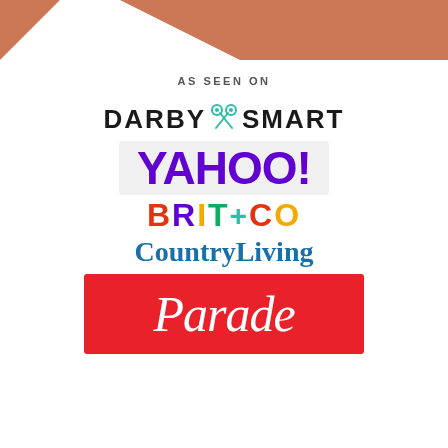[Figure (illustration): Terracotta/copper colored triangular banner shapes at the top of the page — two triangles creating a decorative header]
AS SEEN ON
[Figure (logo): Darby Smart logo with scissors icon between words, bold black text]
[Figure (logo): Yahoo! logo in large bold purple text on light gray background]
[Figure (logo): Brit+Co logo with each letter in different bright colors: red, purple, yellow, green]
[Figure (logo): Country Living logo in blue serif font]
[Figure (logo): Parade logo in white italic serif text on red background]